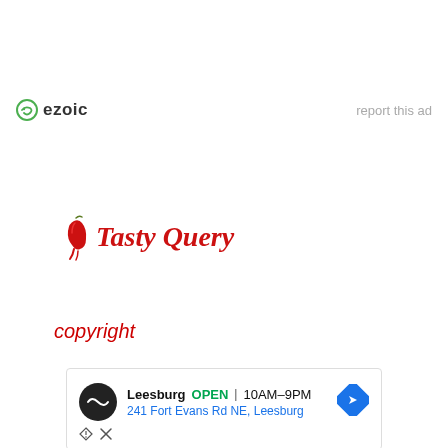[Figure (logo): Ezoic logo with green circular icon and bold 'ezoic' text, alongside 'report this ad' link in gray]
[Figure (logo): Tasty Query logo with red chili pepper illustration and cursive red script text 'Tasty Query']
copyright
[Figure (screenshot): Advertisement banner showing Leesburg store with black circular logo, OPEN status, 10AM-9PM hours, address 241 Fort Evans Rd NE Leesburg, navigation arrow icon, and ad disclosure icons]